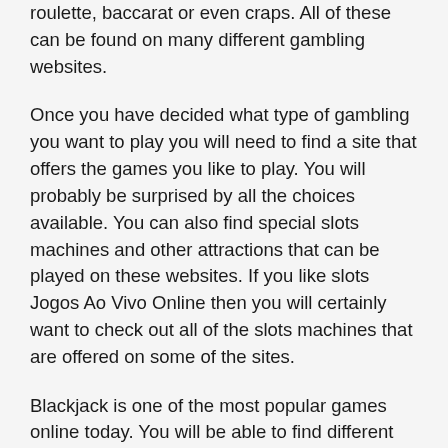roulette, baccarat or even craps. All of these can be found on many different gambling websites.
Once you have decided what type of gambling you want to play you will need to find a site that offers the games you like to play. You will probably be surprised by all the choices available. You can also find special slots machines and other attractions that can be played on these websites. If you like slots Jogos Ao Vivo Online then you will certainly want to check out all of the slots machines that are offered on some of the sites.
Blackjack is one of the most popular games online today. You will be able to find different variations of this game online. If you enjoy playing in person then you will probably want to play in person at a